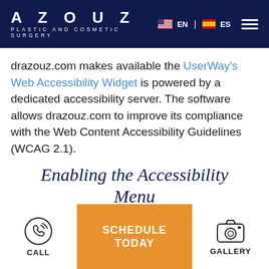AZOUZ PLASTIC AND COSMETIC SURGERY | EN | ES
drazouz.com makes available the UserWay's Web Accessibility Widget is powered by a dedicated accessibility server. The software allows drazouz.com to improve its compliance with the Web Content Accessibility Guidelines (WCAG 2.1).
Enabling the Accessibility Menu
The drazouz.com accessibility menu can be
[Figure (other): Bottom navigation bar with CALL icon (phone), SCHEDULE TODAY orange button, and GALLERY icon (camera)]